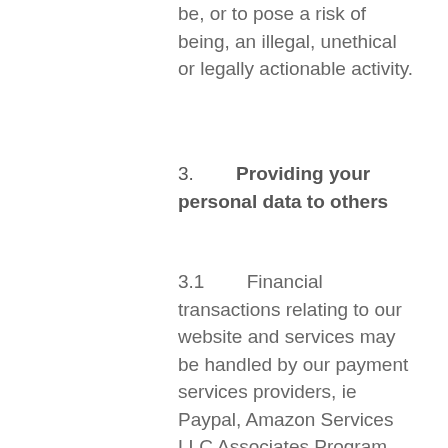be, or to pose a risk of being, an illegal, unethical or legally actionable activity.
3.        Providing your personal data to others
3.1        Financial transactions relating to our website and services may be handled by our payment services providers, ie Paypal, Amazon Services LLC Associates Program, other product providers. We will share transaction data with our payment services providers only